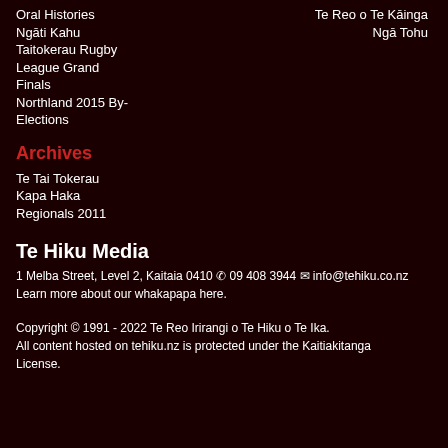Oral Histories
Te Reo o Te Kāinga
Ngāti Kahu
Ngā Tohu
Taitokerau Rugby League Grand Finals
Northland 2015 By-Elections
Archives
Te Tai Tokerau Kapa Haka Regionals 2011
Te Hiku Media
1 Melba Street, Level 2, Kaitaia 0410 ✆ 09 408 3944 ✉ info@tehiku.co.nz
Learn more about our whakapapa here.
Copyright © 1991 - 2022 Te Reo Irirangi o Te Hiku o Te Ika.
All content hosted on tehiku.nz is protected under the Kaitiakitanga License.